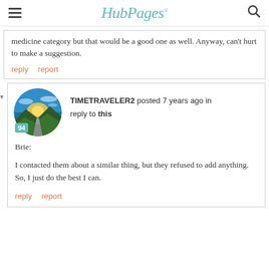HubPages
medicine category but that would be a good one as well.  Anyway, can't hurt to make a suggestion.
reply   report
TIMETRAVELER2 posted 7 years ago in reply to this
Brie:
I contacted them about a similar thing, but they refused to add anything.  So, I just do the best I can.
reply   report